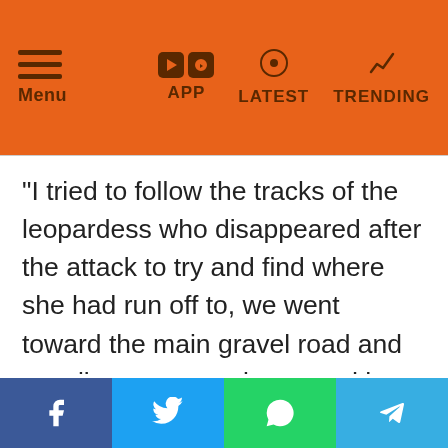Menu | APP | LATEST | TRENDING
“I tried to follow the tracks of the leopardess who disappeared after the attack to try and find where she had run off to, we went toward the main gravel road and my client once again spotted her, she was up in a very uncomfortable thorny bush, completely terrified and alert. We stuck around for an hour or so to see if she would finally calm down and come back down from the tree. Sadly she only came about halfway down the tree when it was time for us to return to camp as the gates were about to close. All
Facebook | Twitter | WhatsApp | Telegram